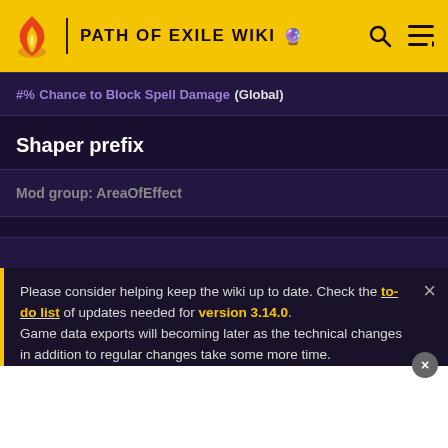PATH OF EXILE WIKI
#% Chance to Block Spell Damage (Global)
Shaper prefix
Mod group: AreaOfEffect
Please consider helping keep the wiki up to date. Check the to-do list of updates needed for version 3.14.0. Game data exports will becoming later as the technical changes in addition to regular changes take some more time.